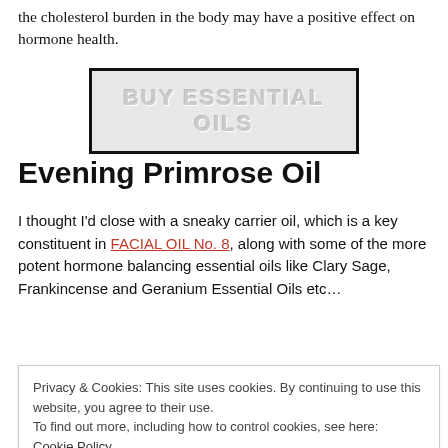the cholesterol burden in the body may have a positive effect on hormone health.
[Figure (other): Button with text 'BUY ESSENTIAL OILS' in gray embossed style with black border]
Evening Primrose Oil
I thought I'd close with a sneaky carrier oil, which is a key constituent in FACIAL OIL No. 8, along with some of the more potent hormone balancing essential oils like Clary Sage, Frankincense and Geranium Essential Oils etc…
Privacy & Cookies: This site uses cookies. By continuing to use this website, you agree to their use.
To find out more, including how to control cookies, see here:
Cookie Policy
Close and accept